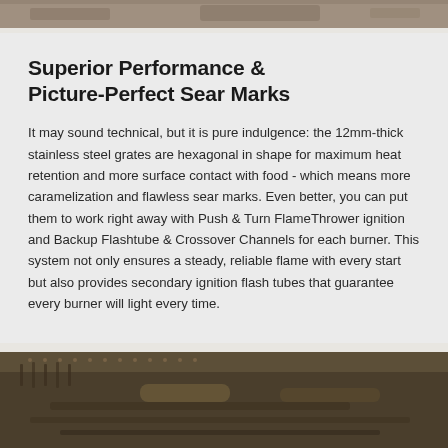[Figure (photo): Top partial photo of a grill or cooking surface, cropped at the top of the page.]
Superior Performance & Picture-Perfect Sear Marks
It may sound technical, but it is pure indulgence: the 12mm-thick stainless steel grates are hexagonal in shape for maximum heat retention and more surface contact with food - which means more caramelization and flawless sear marks. Even better, you can put them to work right away with Push & Turn FlameThrower ignition and Backup Flashtube & Crossover Channels for each burner. This system not only ensures a steady, reliable flame with every start but also provides secondary ignition flash tubes that guarantee every burner will light every time.
[Figure (photo): Bottom partial photo showing a close-up of grill grates and burner components in sepia/bronze tones.]